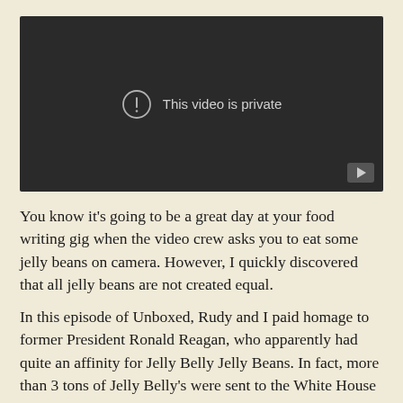[Figure (screenshot): A dark video player with 'This video is private' message and a YouTube icon in the bottom right corner.]
You know it's going to be a great day at your food writing gig when the video crew asks you to eat some jelly beans on camera. However, I quickly discovered that all jelly beans are not created equal.
In this episode of Unboxed, Rudy and I paid homage to former President Ronald Reagan, who apparently had quite an affinity for Jelly Belly Jelly Beans. In fact, more than 3 tons of Jelly Belly's were sent to the White House for Reagan during starting year in 1981.